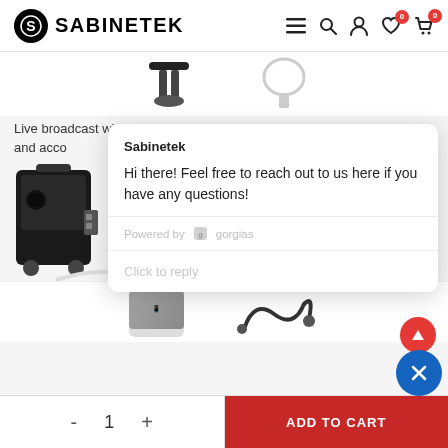[Figure (screenshot): Sabinetek website header with logo, hamburger menu, search, account, wishlist (0), and cart (0) icons]
[Figure (screenshot): Product page showing speaker connected to laptop with USB cable, partial view of product images]
Live broadcast with computer and acco
[Figure (screenshot): Sabinetek live chat popup with message: 'Hi there! Feel free to reach out to us here if you have any questions!' and 'Click to reply' input, powered by gorgias]
[Figure (screenshot): Bottom add to cart bar with quantity selector showing 1, minus and plus buttons, and red ADD TO CART button]